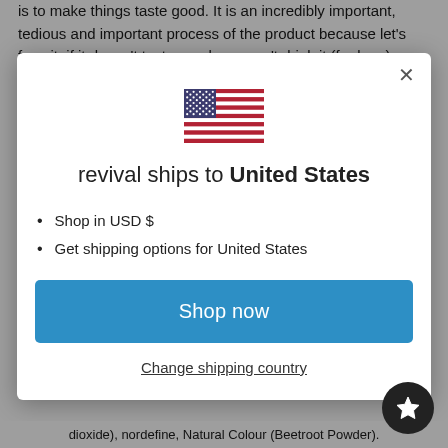is to make things taste good. It is an incredibly important, tedious and important process of the product because let's face it, if it doesn't taste good, we won't drink it (for long).
[Figure (illustration): A popup modal dialog on a grey background. It shows a US flag icon at the top, the text 'revival ships to United States', two bullet points listing 'Shop in USD $' and 'Get shipping options for United States', a blue 'Shop now' button, and a 'Change shipping country' link below. A close (X) button is in the top-right corner of the modal.]
dioxide), nordefine, Natural Colour (Beetroot Powder).